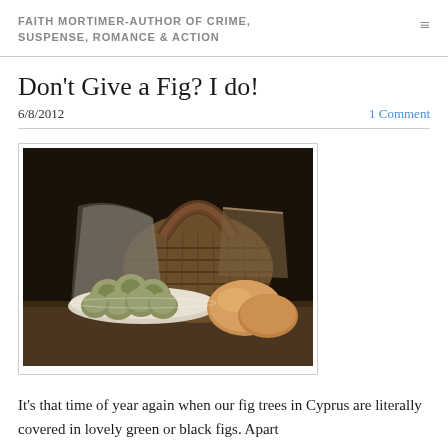FAITH MORTIMER-AUTHOR OF CRIME, SUSPENSE, ROMANCE & ACTION
Don't Give a Fig? I do!
6/8/2012
1 Comment
[Figure (photo): Classical still life painting showing a wicker basket, a plate of green figs, and bread rolls on a wooden surface. Dark background in old-master style.]
It's that time of year again when our fig trees in Cyprus are literally covered in lovely green or black figs. Apart